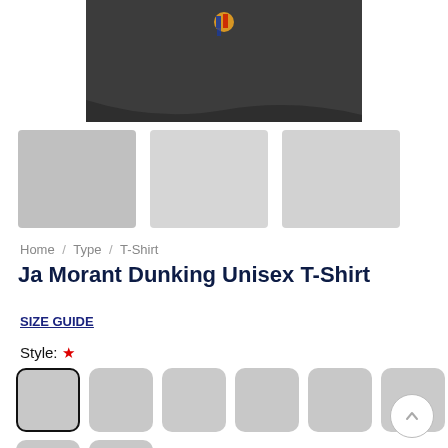[Figure (photo): Partial view of a dark gray T-shirt with a small colorful graphic (basketball player dunking) near the top center.]
[Figure (photo): Three product thumbnail images in a row — first is darker gray, second and third are lighter gray placeholders for the T-shirt product.]
Home / Type / T-Shirt
Ja Morant Dunking Unisex T-Shirt
SIZE GUIDE
Style: *
[Figure (other): Style color/variant swatches — 8 gray rounded square buttons arranged in two rows of 6 and 2; the first swatch is selected with a dark border.]